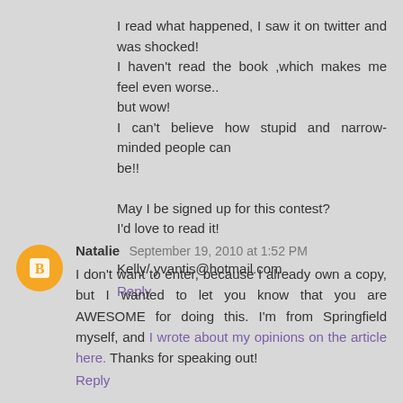I read what happened, I saw it on twitter and was shocked! I haven't read the book ,which makes me feel even worse.. but wow!
I can't believe how stupid and narrow-minded people can be!!

May I be signed up for this contest?
I'd love to read it!

Kelly/ yvantis@hotmail.com
Reply
Natalie  September 19, 2010 at 1:52 PM
I don't want to enter, because I already own a copy, but I wanted to let you know that you are AWESOME for doing this. I'm from Springfield myself, and I wrote about my opinions on the article here. Thanks for speaking out!
Reply